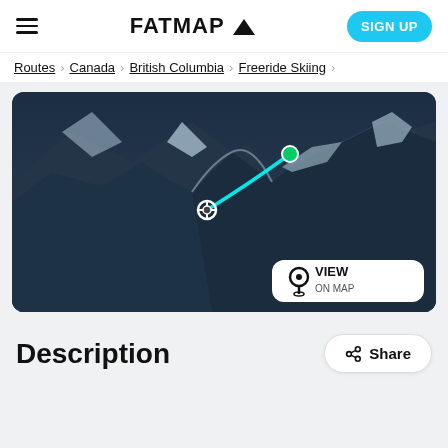FATMAP
Routes > Canada > British Columbia > Freeride Skiing >
[Figure (map): 3D aerial/satellite map showing a snowy mountain terrain with a cyan ski route line drawn from a green start point at upper right to a crosshair endpoint at lower left. The route passes over steep mountain ridges covered in snow.]
Description
Share